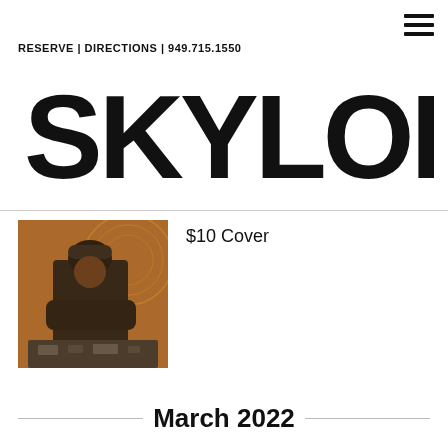RESERVE | DIRECTIONS | 949.715.1550
SKYLOFT
[Figure (photo): Photo of a DJ or performer wearing dark clothing and a hat, standing at equipment with warm amber/orange lighting and decorative background]
$10 Cover
March 2022